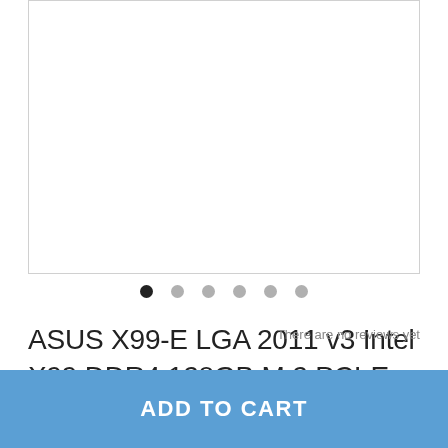[Figure (photo): Product image placeholder for ASUS X99-E motherboard (white/blank area with border)]
ASUS X99-E LGA 2011 v3 Intel X99 DDR4 128GB M.2 PCI-E 3.0 Kit Xeon Core i7 CPU USB3.1 10×SATA III ATX Desktop Gaming Motherboard
There are no reviews yet
Quantity:
ADD TO CART